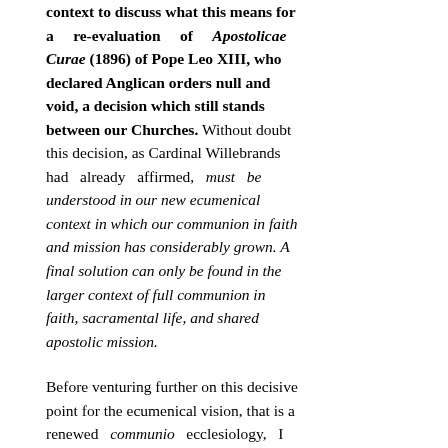context to discuss what this means for a re-evaluation of Apostolicae Curae (1896) of Pope Leo XIII, who declared Anglican orders null and void, a decision which still stands between our Churches. Without doubt this decision, as Cardinal Willebrands had already affirmed, must be understood in our new ecumenical context in which our communion in faith and mission has considerably grown. A final solution can only be found in the larger context of full communion in faith, sacramental life, and shared apostolic mission.
Before venturing further on this decisive point for the ecumenical vision, that is a renewed communio ecclesiology, I